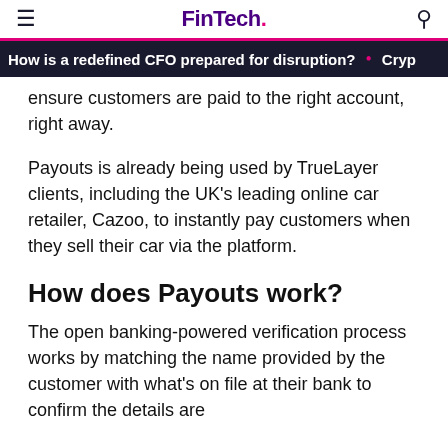FinTech.
How is a redefined CFO prepared for disruption? • Cryp
ensure customers are paid to the right account, right away.
Payouts is already being used by TrueLayer clients, including the UK's leading online car retailer, Cazoo, to instantly pay customers when they sell their car via the platform.
How does Payouts work?
The open banking-powered verification process works by matching the name provided by the customer with what's on file at their bank to confirm the details are